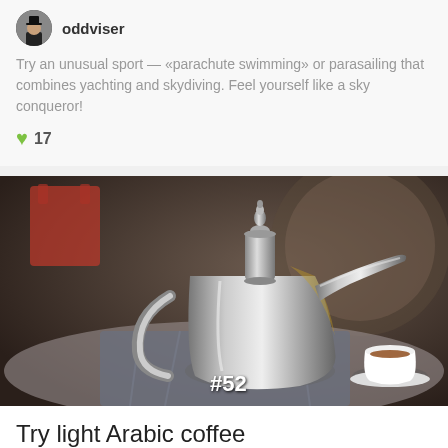oddviser
Try an unusual sport — «parachute swimming» or parasailing that combines yachting and skydiving. Feel yourself like a sky conqueror!
17
[Figure (photo): A shiny silver Arabic coffee pot (dallah) with a curved spout, next to a small white cup of coffee on a table. A red chair is visible in the blurred background. A badge '#52' is overlaid on the lower left of the image.]
Try light Arabic coffee
Joan Naples